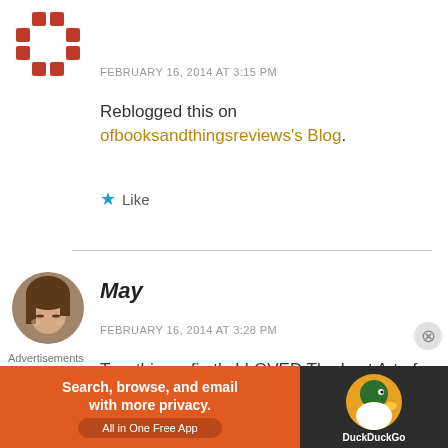[Figure (illustration): Red and white avatar/logo icon (crossword-like pattern) top left corner]
FEBRUARY 16, 2014 AT 3:15 PM
Reblogged this on ofbooksandthingsreviews's Blog.
★ Like
[Figure (photo): Circular avatar photo of a woman with brown hair looking down]
May
FEBRUARY 16, 2014 AT 3:28 PM
Two things: firstly I LOVED The Lost Art of
Advertisements
[Figure (screenshot): DuckDuckGo advertisement banner: Search, browse, and email with more privacy. All in One Free App]